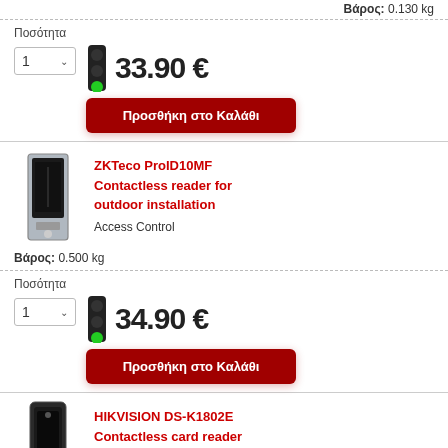Βάρος: 0.130 kg
Ποσότητα
33.90 €
Προσθήκη στο Καλάθι
ZKTeco ProID10MF Contactless reader for outdoor installation
Access Control
Βάρος: 0.500 kg
Ποσότητα
34.90 €
Προσθήκη στο Καλάθι
HIKVISION DS-K1802E Contactless card reader EM 125kHz
Access Control